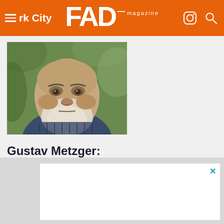FAD magazine
[Figure (photo): Close-up portrait of an elderly man with white beard and blue knitwear, outdoors with green foliage background]
Gustav Metzger: Earth Minus Environment, Kestle Barton
[Figure (other): Advertisement box with close/X button]